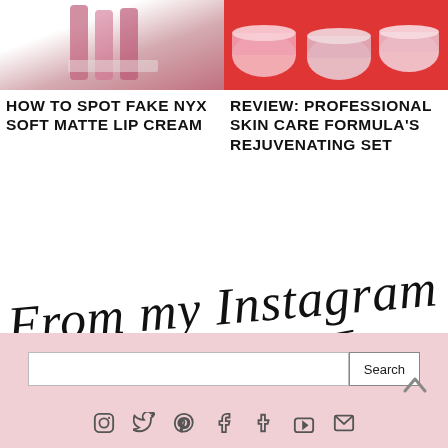[Figure (photo): Two side-by-side product photos at top: left shows NYX lip products on white/pink background, right shows skin care cream jars on red background]
HOW TO SPOT FAKE NYX SOFT MATTE LIP CREAM
REVIEW: PROFESSIONAL SKIN CARE FORMULA'S REJUVENATING SET
[Figure (illustration): Handwritten script text reading 'From my Instagram']
Search
[Figure (other): Social media icons row: Instagram, Twitter, Pinterest, Facebook, Tumblr, YouTube, Email]